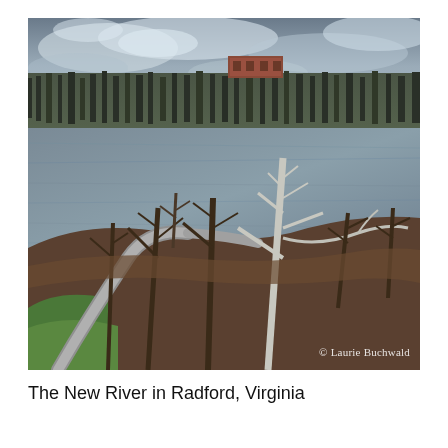[Figure (photo): Aerial/elevated photograph of the New River in Radford, Virginia during winter or early spring. Bare deciduous trees line the riverbank in the foreground with a curved walking path visible at bottom left. The wide grey-blue river stretches across the middle of the image. On the far bank, more bare trees cover a hillside, with a brick building visible at the top of the hill. The sky is overcast with dramatic clouds. A watermark reads '© Laurie Buchwald' in the lower right corner of the image.]
The New River in Radford, Virginia